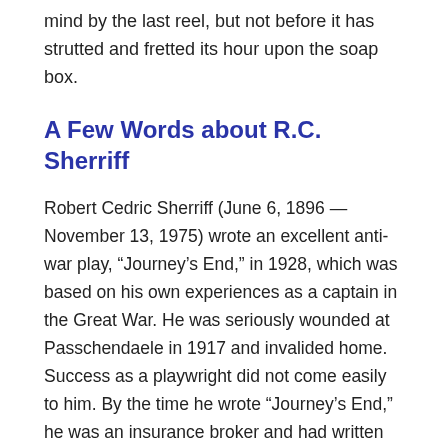mind by the last reel, but not before it has strutted and fretted its hour upon the soap box.
A Few Words about R.C. Sherriff
Robert Cedric Sherriff (June 6, 1896 — November 13, 1975) wrote an excellent anti-war play, “Journey’s End,” in 1928, which was based on his own experiences as a captain in the Great War. He was seriously wounded at Passchendaele in 1917 and invalided home. Success as a playwright did not come easily to him. By the time he wrote “Journey’s End,” he was an insurance broker and had written six unproduced plays. “Journey’s End” very nearly did not happen. Producers at the time had little interest in plays about war, especially those that featured no leading lady. (“No Leading Lady” is the title of Sherriff’s autobiography.) As they saw it, the War to End All Wars was also the War that Everyone Wished to Forget. Eventually, the script found its way to an eccentric